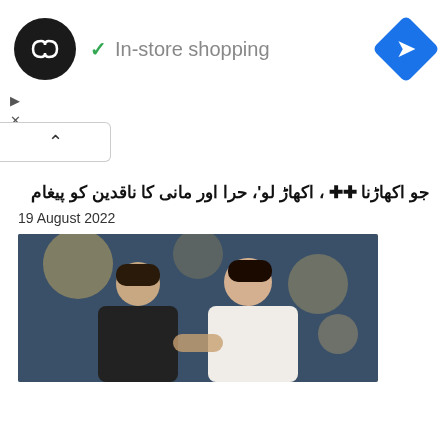[Figure (screenshot): Advertisement banner with black circular logo with infinity-like symbol, checkmark icon with 'In-store shopping' text in grey, and blue diamond navigation icon on the right. Below are small play and close icons.]
[Figure (other): Collapse/chevron up button on left side]
جو اکھاڑنا ⬜⬜ ، اکھاڑ لو'، حرا اور مانی کا ناقدین کو پیغام
19 August 2022
[Figure (photo): Photo of a man in a white shirt and a woman in dark clothing sitting together against a colorful bokeh background]
کراچی:مون سون بارشیں، کراچی سے ⬜ حیدرآباد جانیوالی کار سیلابی ریلے میں بہ ⬜⬜ گئی، 4 بچوں سمیت 7 افراد لاپتا
18 August 2022